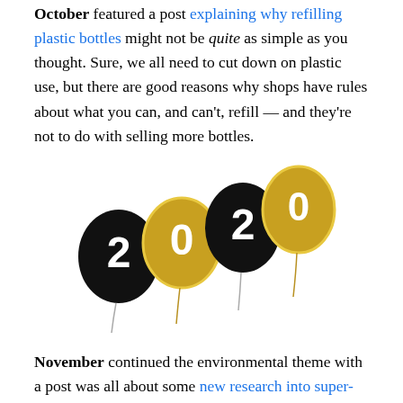October featured a post explaining why refilling plastic bottles might not be quite as simple as you thought. Sure, we all need to cut down on plastic use, but there are good reasons why shops have rules about what you can, and can't, refill — and they're not to do with selling more bottles.
[Figure (illustration): Balloons shaped as digits 2, 0, 2, 0 for New Year 2020. Two black balloons with white numerals (2 and 2) and two gold/yellow balloons with white numerals (0 and 0), with strings hanging below.]
November continued the environmental theme with a post was all about some new research into super-slippery coatings that might be applied to all sorts of surfaces, not least ceramic toilet bowls, with the goal of saving some of